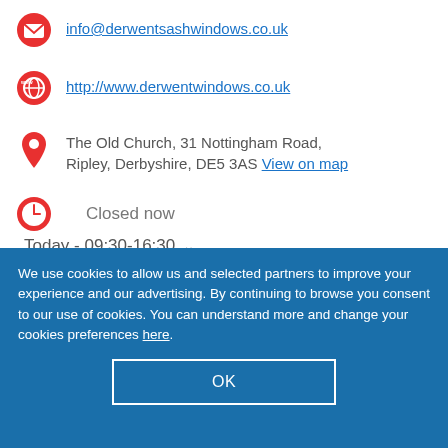info@derwentsashwindows.co.uk (partial, top)
http://www.derwentwindows.co.uk
The Old Church, 31 Nottingham Road, Ripley, Derbyshire, DE5 3AS View on map
Closed now
Today - 09:30-16:30
We use cookies to allow us and selected partners to improve your experience and our advertising. By continuing to browse you consent to our use of cookies. You can understand more and change your cookies preferences here.
OK